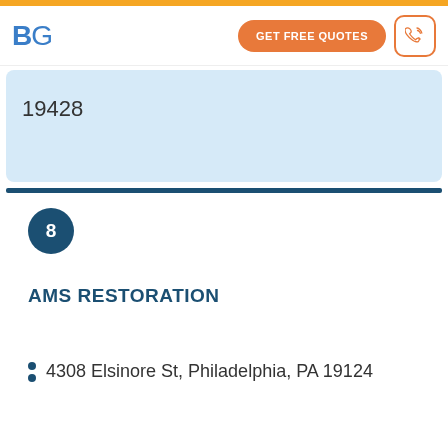BG | GET FREE QUOTES
19428
8
AMS RESTORATION
4308 Elsinore St, Philadelphia, PA 19124